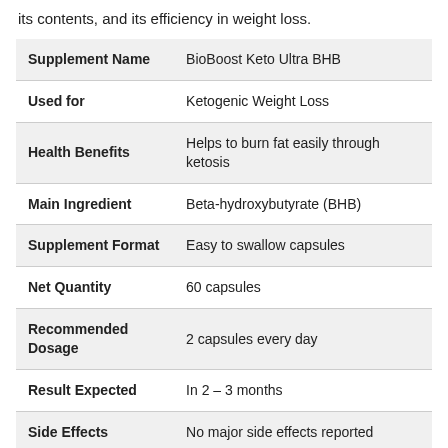its contents, and its efficiency in weight loss.
| Supplement Name | BioBoost Keto Ultra BHB |
| --- | --- |
| Used for | Ketogenic Weight Loss |
| Health Benefits | Helps to burn fat easily through ketosis |
| Main Ingredient | Beta-hydroxybutyrate (BHB) |
| Supplement Format | Easy to swallow capsules |
| Net Quantity | 60 capsules |
| Recommended Dosage | 2 capsules every day |
| Result Expected | In 2 – 3 months |
| Side Effects | No major side effects reported |